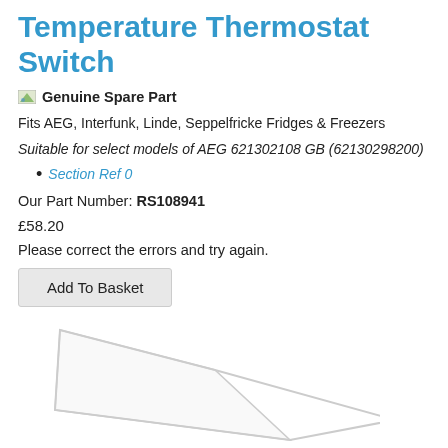Temperature Thermostat Switch
Genuine Spare Part
Fits AEG, Interfunk, Linde, Seppelfricke Fridges & Freezers
Suitable for select models of AEG 621302108 GB (62130298200)
Section Ref 0
Our Part Number: RS108941
£58.20
Please correct the errors and try again.
[Figure (illustration): Product image placeholder showing a white/light gray angular thermostat switch part outline]